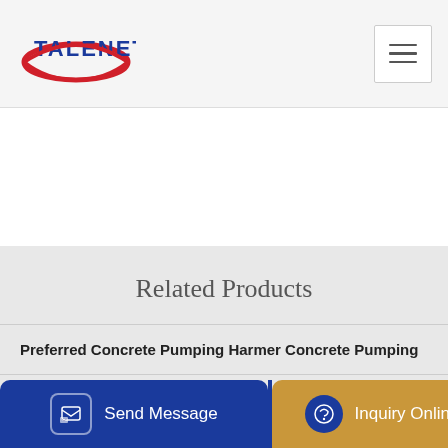[Figure (logo): Talenet company logo with red swoosh and blue text]
Related Products
Preferred Concrete Pumping Harmer Concrete Pumping
hzs60 portable ready mix concrete plant portable batch plant
Send Message | Inquiry Online